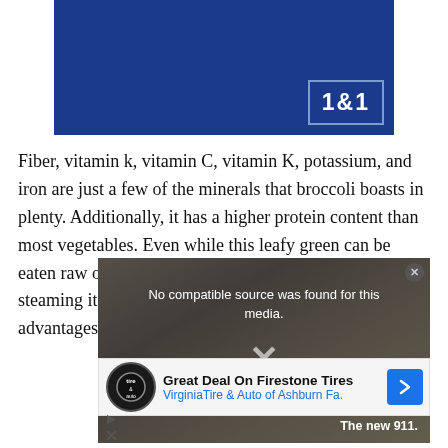[Figure (logo): 1&1 advertisement banner — dark navy blue rectangle with the '1&1' logo in a bordered white/blue box in the bottom right corner]
Fiber, vitamin k, vitamin C, vitamin K, potassium, and iron are just a few of the minerals that broccoli boasts in plenty. Additionally, it has a higher protein content than most vegetables. Even while this leafy green can be eaten raw or cooked, new research suggests that steaming it for only a few minutes has the highest health advantages.
[Figure (screenshot): Video player overlay showing 'No compatible source was found for this media.' message with an X close button and a large X in the center, over a blurred kitchen background. Bottom shows 'The new 911.' tagline.]
[Figure (screenshot): Advertisement banner for 'Great Deal On Firestone Tires' by Virginia Tire & Auto of Ashburn Fa. with Firestone logo and a blue navigation arrow icon.]